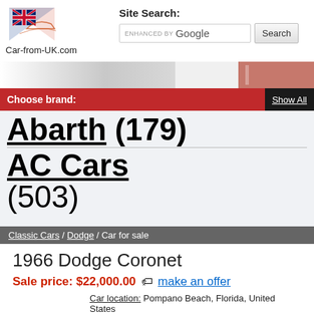[Figure (logo): Car-from-UK.com logo with British flag and car silhouette]
Site Search:
ENHANCED BY Google [Search button]
[Figure (photo): Banner image strip - partially visible car photo]
Choose brand:
Show All
Abarth (179)
AC Cars (503)
Classic Cars / Dodge / Car for sale
1966 Dodge Coronet
Sale price: $22,000.00 🏷 make an offer
Car location: Pompano Beach, Florida, United States
Sale type: Fixed price listing